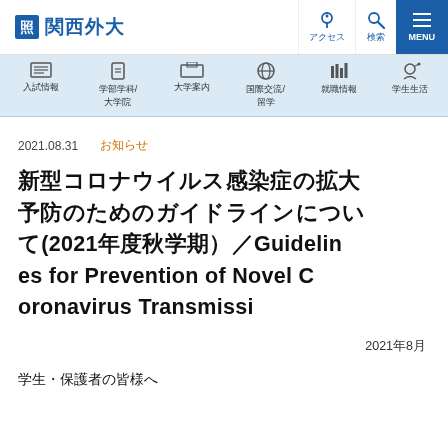関西外大 | アクセス | 検索 | MENU
[Figure (screenshot): University navigation bar with icons for 入試情報, 学部学科/大学院, 大学案内, 国際交流/留学, 就職情報, 学生生活]
2021.08.31　お知らせ
新型コロナウイルス感染症の拡大予防のためのガイドラインについて(2021年度秋学期）/Guidelines for Prevention of Novel Coronavirus Transmissi
2021年8月
学生・保護者の皆様へ